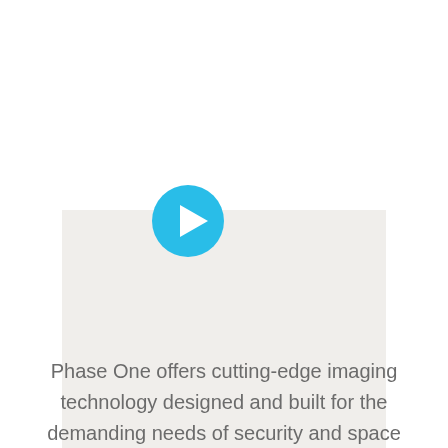[Figure (other): Video player area with a circular cyan/sky-blue play button centered over a light gray panel area]
Phase One offers cutting-edge imaging technology designed and built for the demanding needs of security and space applications. Our wide area high resolution iXM cameras offer d...